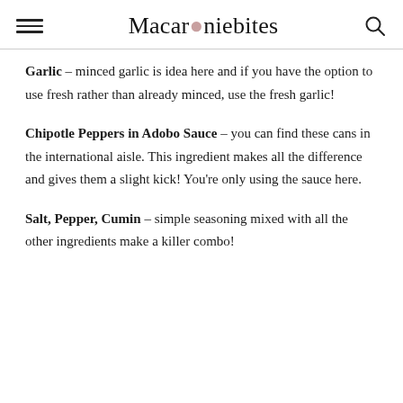Macaroniebites
Garlic – minced garlic is idea here and if you have the option to use fresh rather than already minced, use the fresh garlic!
Chipotle Peppers in Adobo Sauce – you can find these cans in the international aisle. This ingredient makes all the difference and gives them a slight kick! You're only using the sauce here.
Salt, Pepper, Cumin – simple seasoning mixed with all the other ingredients make a killer combo!